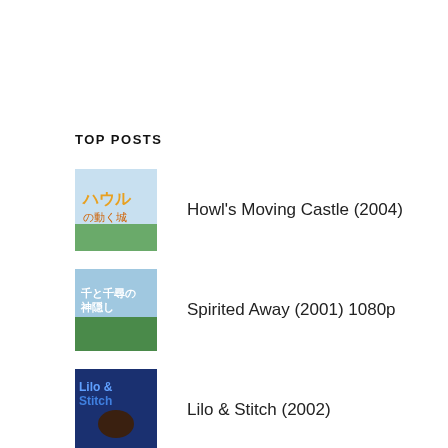TOP POSTS
Howl's Moving Castle (2004)
Spirited Away (2001) 1080p
Lilo & Stitch (2002)
Turning Red (2022) [4K]
My Neighbor Totoro (1988)